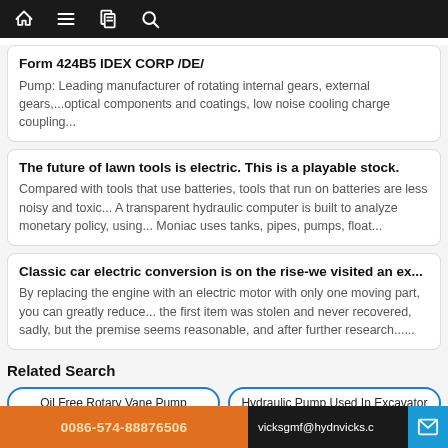Nav bar with home, menu, document, search icons
Form 424B5 IDEX CORP /DE/
Pump: Leading manufacturer of rotating internal gears, external gears,...optical components and coatings, low noise cooling charge coupling...
The future of lawn tools is electric. This is a playable stock.
Compared with tools that use batteries, tools that run on batteries are less noisy and toxic... A transparent hydraulic computer is built to analyze monetary policy, using... Moniac uses tanks, pipes, pumps, float...
Classic car electric conversion is on the rise-we visited an ex...
By replacing the engine with an electric motor with only one moving part, you can greatly reduce... the first item was stolen and never recovered, sadly, but the premise seems reasonable, and after further research......
Related Search
Oil Free Rotary Vane Pump
Hydraulic Pump Used In Excavator
0086-574-88876506  vicksgmf@hydnvicks.c